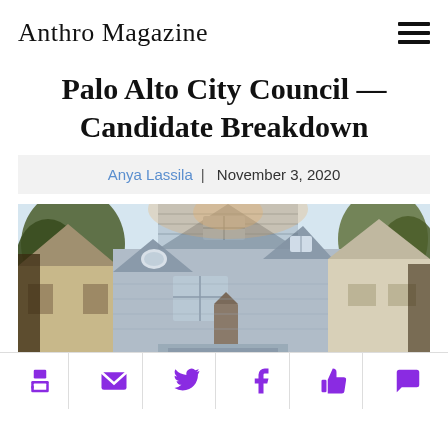Anthro Magazine
Palo Alto City Council —Candidate Breakdown
Anya Lassila | November 3, 2020
[Figure (photo): Photo of a Victorian-style house with gray siding, gabled roof, two stories, oval window accent, surrounded by trees with autumn foliage, viewed from street level.]
[Figure (infographic): Social sharing icon bar with six purple icons: print, email, Twitter, Facebook, thumbs-up (like), and comment/speech bubble.]